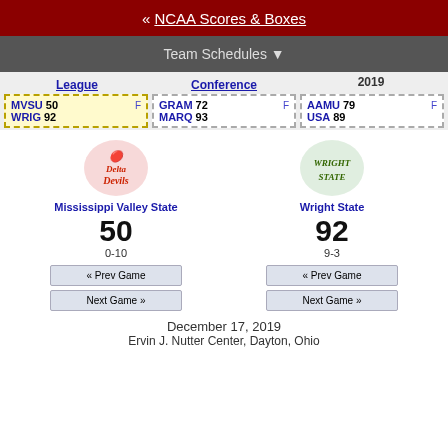« NCAA Scores & Boxes
Team Schedules ▼
| League | Conference | 2019 |
| --- | --- | --- |
| MVSU 50 F / WRIG 92 | GRAM 72 F / MARQ 93 | AAMU 79 F / USA 89 |
[Figure (logo): Mississippi Valley State Devils logo]
Mississippi Valley State
50
0-10
[Figure (logo): Wright State Raiders logo]
Wright State
92
9-3
« Prev Game
Next Game »
« Prev Game
Next Game »
December 17, 2019
Ervin J. Nutter Center, Dayton, Ohio